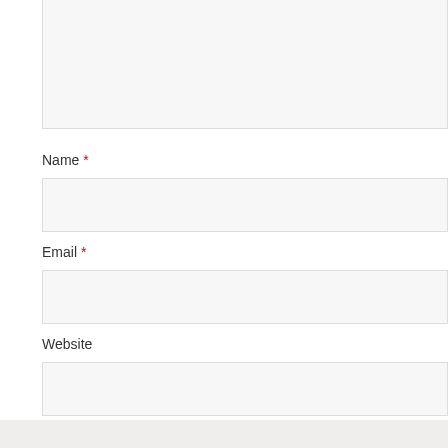Name *
Email *
Website
Save my name, email, and website in this browser for the next time I co
Post Comment
SocialVirtuality